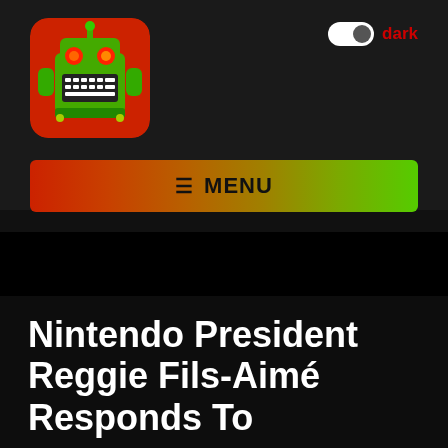[Figure (logo): Green robot/game character logo icon with red eyes on red background, rounded square app icon]
[Figure (other): Dark mode toggle switch (on) with label 'dark' in red text]
[Figure (other): Hamburger menu bar with gradient background (red to green) and text MENU]
[Figure (other): Black advertisement area placeholder]
Nintendo President Reggie Fils-Aimé Responds To